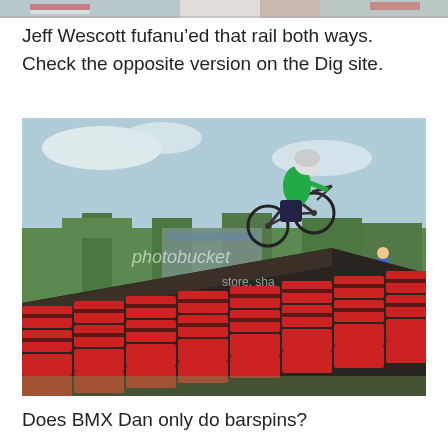[Figure (photo): Partial image at top of page showing a BMX scene]
Jeff Wescott fufanu’ed that rail both ways. Check the opposite version on the Dig site.
[Figure (photo): BMX rider performing a trick on a large stair-set rail structure made of red and black barrels/drums, with trees and a stadium visible in background. Photobucket watermark visible. Rider wears green shirt and helmet.]
Does BMX Dan only do barspins?